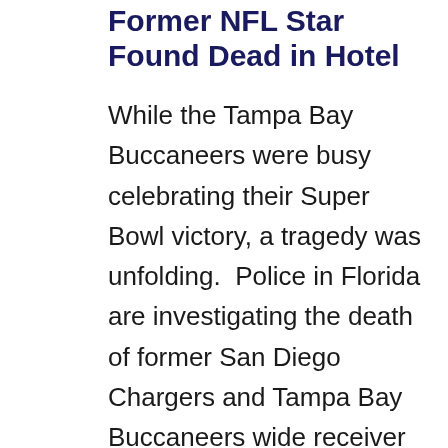Former NFL Star Found Dead in Hotel
While the Tampa Bay Buccaneers were busy celebrating their Super Bowl victory, a tragedy was unfolding.  Police in Florida are investigating the death of former San Diego Chargers and Tampa Bay Buccaneers wide receiver Vincent